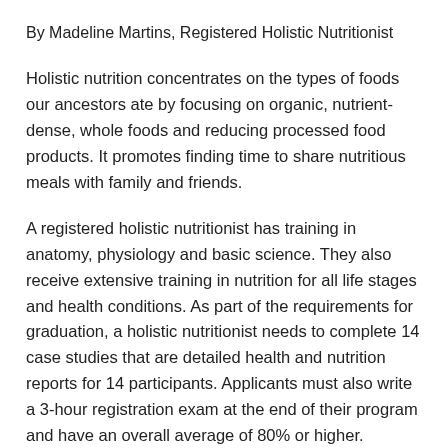By Madeline Martins, Registered Holistic Nutritionist
Holistic nutrition concentrates on the types of foods our ancestors ate by focusing on organic, nutrient-dense, whole foods and reducing processed food products. It promotes finding time to share nutritious meals with family and friends.
A registered holistic nutritionist has training in anatomy, physiology and basic science. They also receive extensive training in nutrition for all life stages and health conditions. As part of the requirements for graduation, a holistic nutritionist needs to complete 14 case studies that are detailed health and nutrition reports for 14 participants. Applicants must also write a 3-hour registration exam at the end of their program and have an overall average of 80% or higher.
A holistic nutritionist takes a whole-body approach to find the root cause of a health problem. As a holistic nutritionist, I consider the